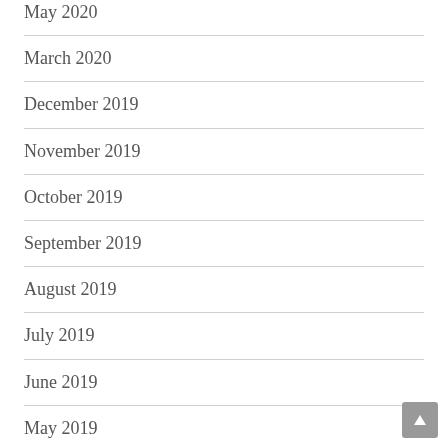May 2020
March 2020
December 2019
November 2019
October 2019
September 2019
August 2019
July 2019
June 2019
May 2019
March 2019
February 2019
March 2018